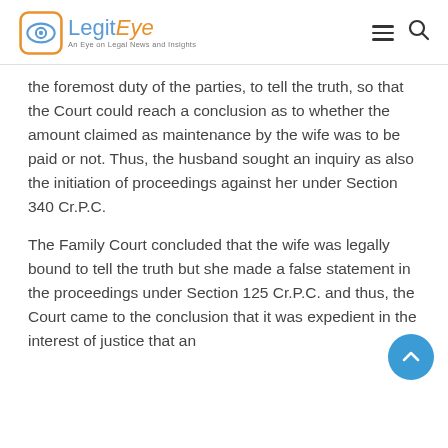LegitEye — An Eye on Legal News and Insights
the foremost duty of the parties, to tell the truth, so that the Court could reach a conclusion as to whether the amount claimed as maintenance by the wife was to be paid or not. Thus, the husband sought an inquiry as also the initiation of proceedings against her under Section 340 Cr.P.C.
The Family Court concluded that the wife was legally bound to tell the truth but she made a false statement in the proceedings under Section 125 Cr.P.C. and thus, the Court came to the conclusion that it was expedient in the interest of justice that an